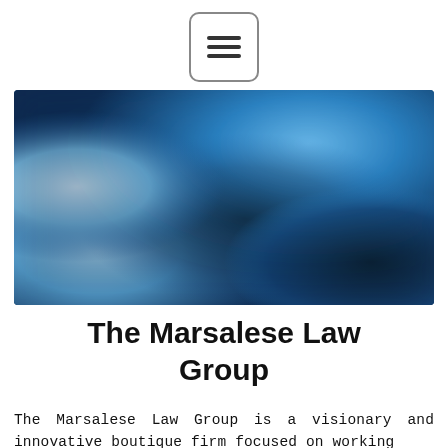[Figure (other): Hamburger menu button icon: three horizontal lines inside a rounded rectangle border]
[Figure (photo): Abstract blurred blue background image with varying shades of blue, cyan, and dark areas suggesting a soft-focus photographic background]
The Marsalese Law Group
The Marsalese Law Group is a visionary and innovative boutique firm focused on working